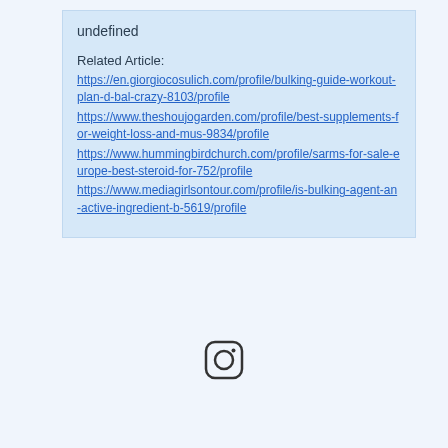undefined
Related Article:
https://en.giorgiocosulich.com/profile/bulking-guide-workout-plan-d-bal-crazy-8103/profile
https://www.theshoujogarden.com/profile/best-supplements-for-weight-loss-and-mus-9834/profile
https://www.hummingbirdchurch.com/profile/sarms-for-sale-europe-best-steroid-for-752/profile
https://www.mediagirlsontour.com/profile/is-bulking-agent-an-active-ingredient-b-5619/profile
[Figure (logo): Instagram icon — rounded square with camera outline in dark gray]